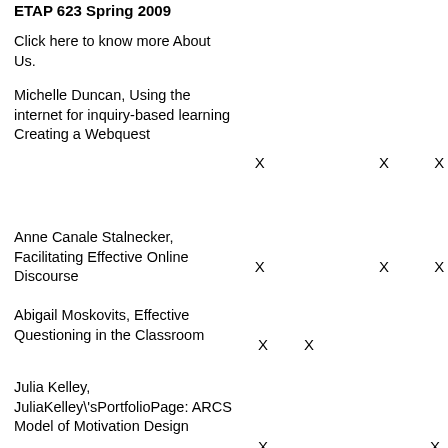ETAP 623 Spring 2009
Click here to know more About Us.
Michelle Duncan, Using the internet for inquiry-based learning Creating a Webquest
Anne Canale Stalnecker, Facilitating Effective Online Discourse
Abigail Moskovits, Effective Questioning in the Classroom
Julia Kelley, JuliaKelley\'sPortfolioPage: ARCS Model of Motivation Design
Tammy Clark, Using Cognitive Flexibility Theory x ... x